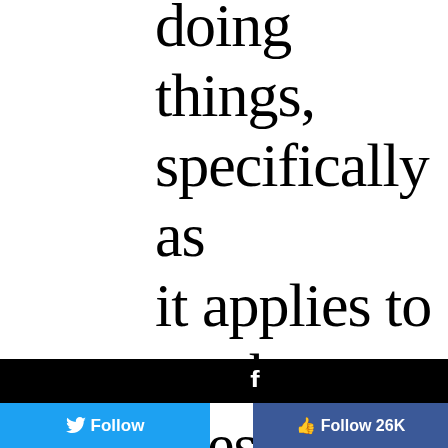doing things, specifically as it applies to work + lifestyle, we are continually
[Figure (screenshot): Facebook share bar (black background with white 'f' logo)]
[Figure (screenshot): Twitter Follow button (blue) and Facebook Follow 26K button (blue) at bottom]